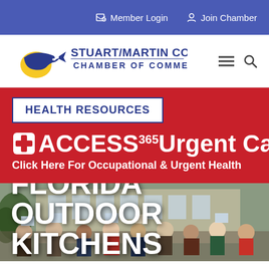Member Login   Join Chamber
[Figure (logo): Stuart/Martin County Chamber of Commerce logo with marlin fish and sun graphic, blue text]
HEALTH RESOURCES
+ ACCESS 365 Urgent Care
Click Here For Occupational & Urgent Health
[Figure (photo): Group of people outdoors holding signs in front of a building. Large white text overlay reads FLORIDA OUTDOOR KITCHENS (partially visible).]